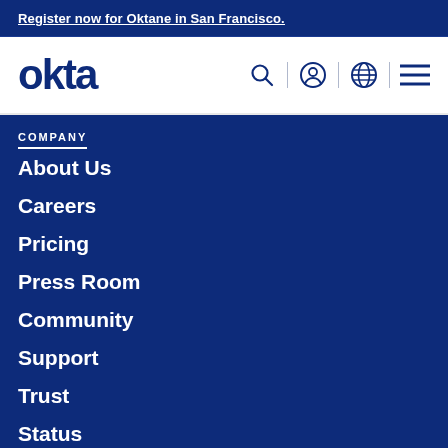Register now for Oktane in San Francisco.
[Figure (logo): Okta logo in dark navy blue text]
[Figure (other): Navigation icons: search, user account, globe/language, hamburger menu]
COMPANY
About Us
Careers
Pricing
Press Room
Community
Support
Trust
Status